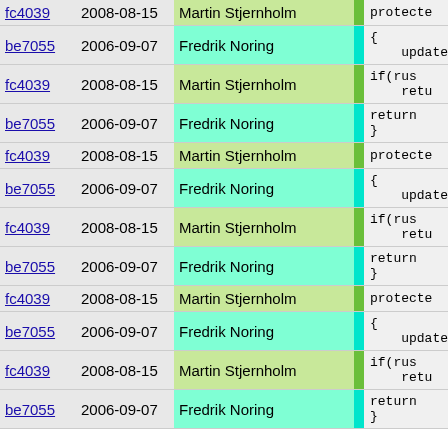| hash | date | author | bar | code |
| --- | --- | --- | --- | --- |
| fc4039 | 2008-08-15 | Martin Stjernholm |  | protecte |
| be7055 | 2006-09-07 | Fredrik Noring |  | { update |
| fc4039 | 2008-08-15 | Martin Stjernholm |  | if(rus retu |
| be7055 | 2006-09-07 | Fredrik Noring |  | return } |
| fc4039 | 2008-08-15 | Martin Stjernholm |  | protecte |
| be7055 | 2006-09-07 | Fredrik Noring |  | { update |
| fc4039 | 2008-08-15 | Martin Stjernholm |  | if(rus retu |
| be7055 | 2006-09-07 | Fredrik Noring |  | return } |
| fc4039 | 2008-08-15 | Martin Stjernholm |  | protecte |
| be7055 | 2006-09-07 | Fredrik Noring |  | { update |
| fc4039 | 2008-08-15 | Martin Stjernholm |  | if(rus retu |
| be7055 | 2006-09-07 | Fredrik Noring |  | return } |